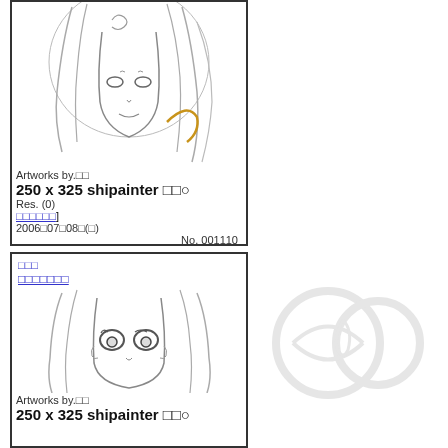[Figure (illustration): Anime-style pencil sketch of a girl's face with long hair, partial view, with a small orange curved line accent]
Artworks by.□□
250 x 325 shipainter □□○
Res. (0)
[□□□□□□]
2006□07□08□(□)
No. 001110
□□□
□□□□□□□
[Figure (illustration): Anime-style pencil sketch of a girl's face with large eyes and long hair, front-facing view]
Artworks by.□□
250 x 325 shipainter □□○
[Figure (illustration): Faded watermark-style circular logo or emblem on the right side of the page]